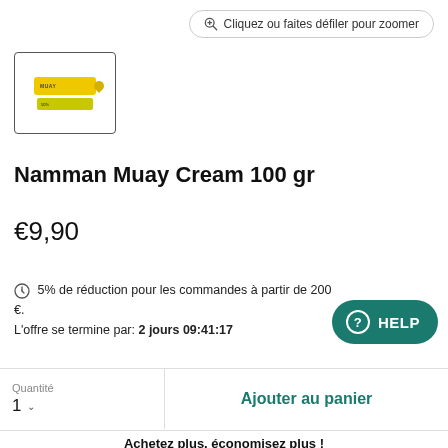Cliquez ou faites défiler pour zoomer
[Figure (photo): Thumbnail of Namman Muay Cream product — yellow tube and small green tube]
Namman Muay Cream 100 gr
€9,90
5% de réduction pour les commandes à partir de 200 €. L'offre se termine par: 2 jours 09:41:17
HELP
Quantité
1
Ajouter au panier
Achetez plus, économisez plus !